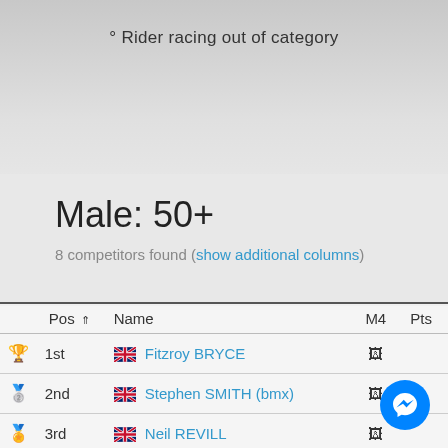° Rider racing out of category
Male: 50+
8 competitors found (show additional columns)
| Pos | Name | M4 | Pts |
| --- | --- | --- | --- |
| 1st | Fitzroy BRYCE | 📊 |  |
| 2nd | Stephen SMITH (bmx) | 📊 |  |
| 3rd | Neil REVILL | 📊 |  |
| 4th | Stephen THOMAS (bmx) | 📊 |  |
| 5th | Marc SIMPSON | 📊 |  |
| 6th | Jonathan CHARLESWORTH | 📊 |  |